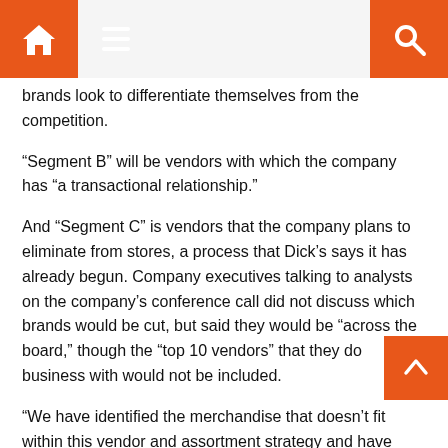brands look to differentiate themselves from the competition.
“Segment B” will be vendors with which the company has “a transactional relationship.”
And “Segment C” is vendors that the company plans to eliminate from stores, a process that Dick’s says it has already begun. Company executives talking to analysts on the company’s conference call did not discuss which brands would be cut, but said they would be “across the board,” though the “top 10 vendors” that they do business with would not be included.
“We have identified the merchandise that doesn’t fit within this vendor and assortment strategy and have taken a $46 million charge to write it down,” Stack said, according to a FactSet transcript.
Separately, Dick’s said that its merchandising strategy will focus on footwear and private brands like Calia, a fitness brand from country